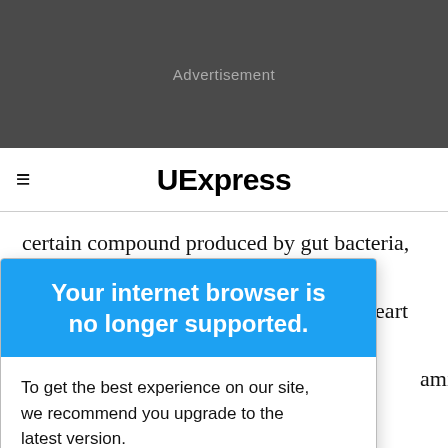Advertisement
UExpress
certain compound produced by gut bacteria, which has been linked to an increased risk of heart attack amine N-oxide, dies, elevated levels nent of arterial and lead to
Your internet browser is no longer supported.
To get the best experience on our site, we recommend you upgrade to the latest version.